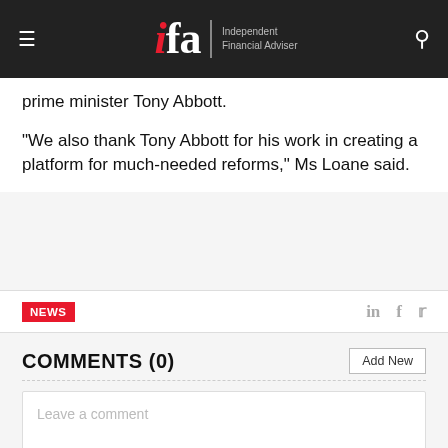ifa Independent Financial Adviser
prime minister Tony Abbott.
"We also thank Tony Abbott for his work in creating a platform for much-needed reforms," Ms Loane said.
NEWS
COMMENTS (0)
Leave a comment
There are no comments yet.